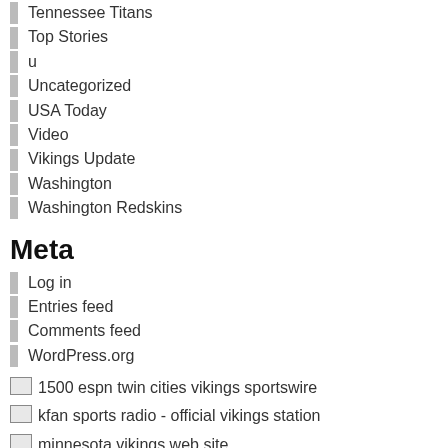Tennessee Titans
Top Stories
u
Uncategorized
USA Today
Video
Vikings Update
Washington
Washington Redskins
Meta
Log in
Entries feed
Comments feed
WordPress.org
1500 espn twin cities vikings sportswire
kfan sports radio - official vikings station
minnesota vikings web site
nWednesday. Source: Mine...